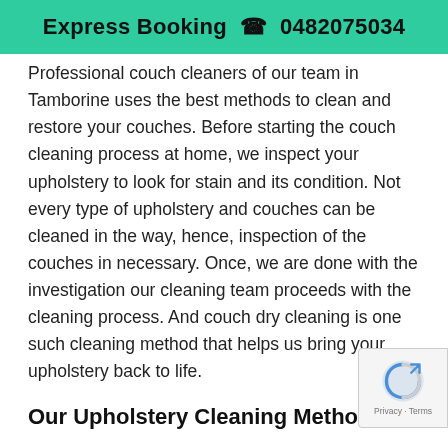Express Booking 📞 0482075034
Professional couch cleaners of our team in Tamborine uses the best methods to clean and restore your couches. Before starting the couch cleaning process at home, we inspect your upholstery to look for stain and its condition. Not every type of upholstery and couches can be cleaned in the way, hence, inspection of the couches in necessary. Once, we are done with the investigation our cleaning team proceeds with the cleaning process. And couch dry cleaning is one such cleaning method that helps us bring your upholstery back to life.
Our Upholstery Cleaning Methods
In order to maintain the comfort and beauty of your upholstery, you need to hire our professional cleaning services like Spotless Upholstery Cleaning. We follow